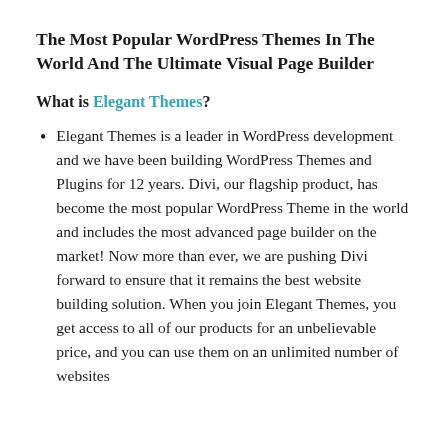The Most Popular WordPress Themes In The World And The Ultimate Visual Page Builder
What is Elegant Themes?
Elegant Themes is a leader in WordPress development and we have been building WordPress Themes and Plugins for 12 years. Divi, our flagship product, has become the most popular WordPress Theme in the world and includes the most advanced page builder on the market! Now more than ever, we are pushing Divi forward to ensure that it remains the best website building solution. When you join Elegant Themes, you get access to all of our products for an unbelievable price, and you can use them on an unlimited number of websites